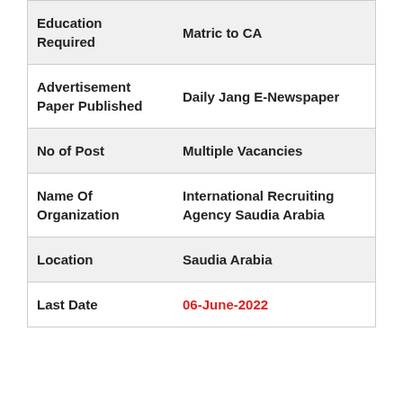| Field | Value |
| --- | --- |
| Education Required | Matric to CA |
| Advertisement Paper Published | Daily Jang E-Newspaper |
| No of Post | Multiple Vacancies |
| Name Of Organization | International Recruiting Agency Saudia Arabia |
| Location | Saudia Arabia |
| Last Date | 06-June-2022 |